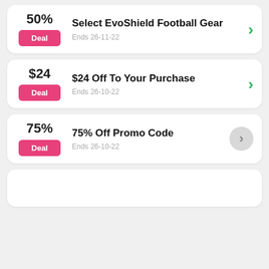50% Deal — Select EvoShield Football Gear — Ends 26-11-22
$24 Deal — $24 Off To Your Purchase — Ends 26-10-22
75% Deal — 75% Off Promo Code — Ends 26-10-22
Partial card (bottom, truncated)